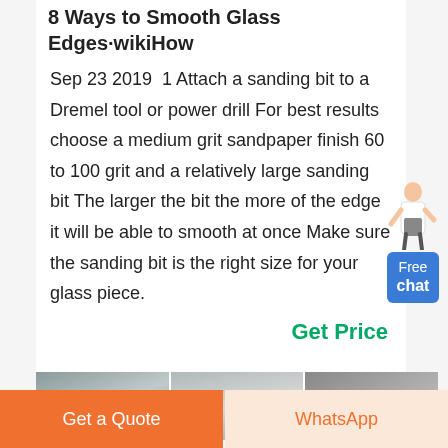8 Ways to Smooth Glass Edges·wikiHow
Sep 23 2019  1 Attach a sanding bit to a Dremel tool or power drill For best results choose a medium grit sandpaper finish 60 to 100 grit and a relatively large sanding bit The larger the bit the more of the edge it will be able to smooth at once Make sure the sanding bit is the right size for your glass piece.
Get Price
[Figure (photo): Three industrial/warehouse photos showing machinery and equipment]
Get a Quote
WhatsApp